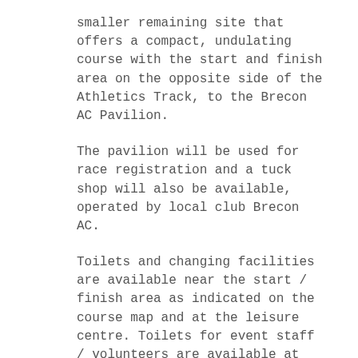smaller remaining site that offers a compact, undulating course with the start and finish area on the opposite side of the Athletics Track, to the Brecon AC Pavilion.
The pavilion will be used for race registration and a tuck shop will also be available, operated by local club Brecon AC.
Toilets and changing facilities are available near the start / finish area as indicated on the course map and at the leisure centre. Toilets for event staff / volunteers are available at the pavilion.
The Races
The first race will be at 11:30. The races will host competition both in the Welsh Inter-Regional Championships, Welsh Inter-Schools Championships and Welsh Colleges Championships.